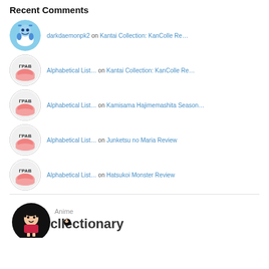Recent Comments
darkdaemonpk2 on Kantai Collection: KanColle Re…
Alphabetical List… on Kantai Collection: KanColle Re…
Alphabetical List… on Kamisama Hajimemashita Season…
Alphabetical List… on Junketsu no Maria Review
Alphabetical List… on Hatsukoi Monster Review
[Figure (logo): Anime Collectionary logo with stylized text and anime character]